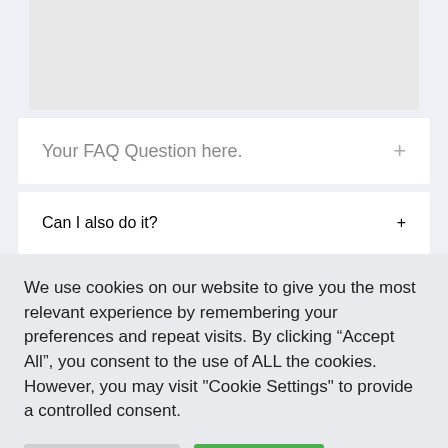[Figure (screenshot): Gray placeholder box at the top of the page]
Your FAQ Question here.
Can I also do it?
We use cookies on our website to give you the most relevant experience by remembering your preferences and repeat visits. By clicking “Accept All”, you consent to the use of ALL the cookies. However, you may visit "Cookie Settings" to provide a controlled consent.
Cookie Settings
Accept All